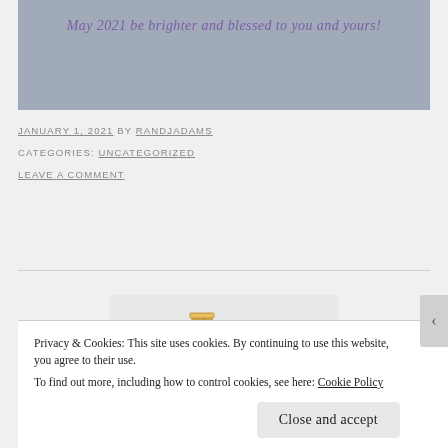[Figure (illustration): Light blue-grey banner background with purple italic text reading 'May 2021 be brighter and blessed to you and yours!']
JANUARY 1, 2021 BY RANDJADAMS
CATEGORIES: UNCATEGORIZED
LEAVE A COMMENT
[Figure (illustration): Cartoon-style house icon with brick chimney and dark triangular roof on a light grey background]
Privacy & Cookies: This site uses cookies. By continuing to use this website, you agree to their use.
To find out more, including how to control cookies, see here: Cookie Policy